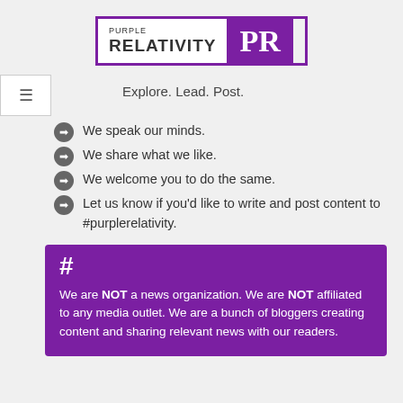[Figure (logo): Purple Relativity PR logo — white box with text 'PURPLE RELATIVITY' and purple box with 'PR' in white]
Explore. Lead. Post.
We speak our minds.
We share what we like.
We welcome you to do the same.
Let us know if you'd like to write and post content to #purplerelativity.
We are NOT a news organization. We are NOT affiliated to any media outlet. We are a bunch of bloggers creating content and sharing relevant news with our readers.